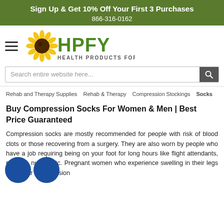Sign Up & Get 10% Off Your First 3 Purchases
866-316-0162
[Figure (logo): HPFY Health Products For You logo with sunflower icon and green text]
Search entire website here...
Rehab and Therapy Supplies  Rehab & Therapy  Compression Stockings  Socks
Buy Compression Socks For Women & Men | Best Price Guaranteed
Compression socks are mostly recommended for people with risk of blood clots or those recovering from a surgery. They are also worn by people who have a job requiring being on your foot for long hours like flight attendants, runners, nurses etc. Pregnant women who experience swelling in their legs also wear compression